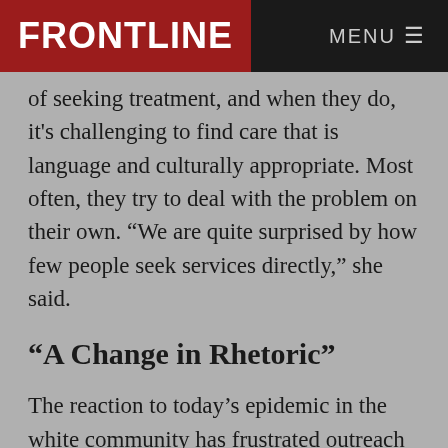FRONTLINE  MENU
of seeking treatment, and when they do, it's challenging to find care that is language and culturally appropriate. Most often, they try to deal with the problem on their own. “We are quite surprised by how few people seek services directly,” she said.
“A Change in Rhetoric”
The reaction to today’s epidemic in the white community has frustrated outreach workers who have been working to change policies toward drug users for years with little success.